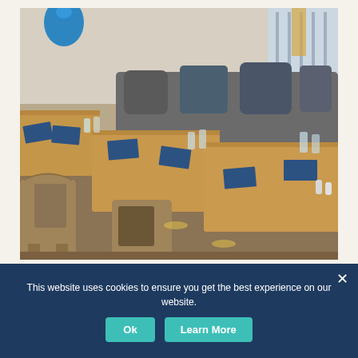[Figure (photo): Interior photo of a restaurant dining area with wooden tables set with blue menus, glasses, and cutlery. Upholstered bench seating with grey and teal pillows along the wall. Warm lighting with pendant lamps visible in background.]
This website uses cookies to ensure you get the best experience on our website.
Ok
Learn More
Current Job Vacancies at